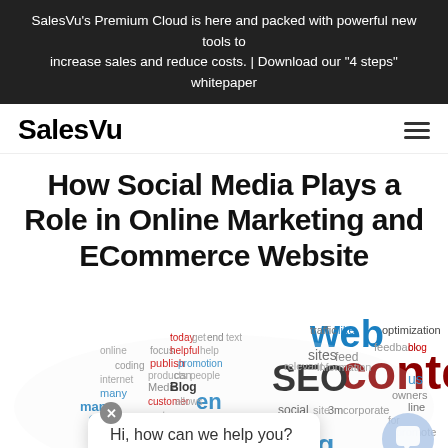SalesVu’s Premium Cloud is here and packed with powerful new tools to increase sales and reduce costs. | Download our "4 steps" whitepaper
SalesVu
How Social Media Plays a Role in Online Marketing and ECommerce Website
[Figure (illustration): Word cloud illustration featuring terms like web, content, SEO, marketing, media, sites, blog, social, optimization, and many others in various colors and sizes, along with a chat popup saying 'Hi, how can we help you?' with a close button and a chat bubble icon.]